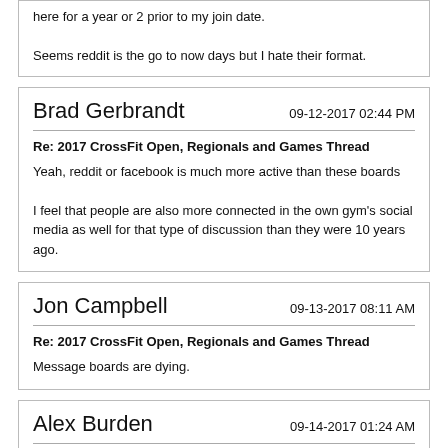here for a year or 2 prior to my join date.

Seems reddit is the go to now days but I hate their format.
Brad Gerbrandt
09-12-2017 02:44 PM
Re: 2017 CrossFit Open, Regionals and Games Thread
Yeah, reddit or facebook is much more active than these boards
I feel that people are also more connected in the own gym's social media as well for that type of discussion than they were 10 years ago.
Jon Campbell
09-13-2017 08:11 AM
Re: 2017 CrossFit Open, Regionals and Games Thread
Message boards are dying.
Alex Burden
09-14-2017 01:24 AM
Re: 2017 CrossFit Open, Regionals and Games Thread
I think the active members has declined a lot but the amount of guests is still quite high.